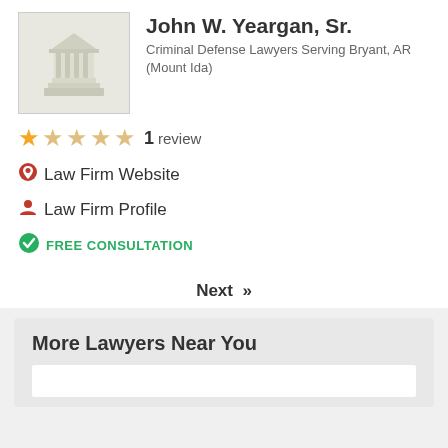[Figure (illustration): Courthouse/law building icon placeholder image]
John W. Yeargan, Sr.
Criminal Defense Lawyers Serving Bryant, AR (Mount Ida)
1 review
Law Firm Website
Law Firm Profile
FREE CONSULTATION
Next »
More Lawyers Near You